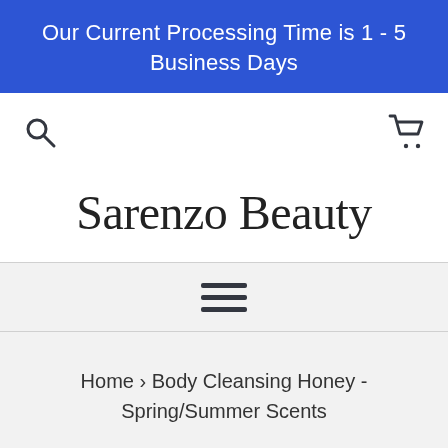Our Current Processing Time is 1 - 5 Business Days
[Figure (screenshot): Navigation bar with search icon on the left and shopping cart icon on the right]
Sarenzo Beauty
[Figure (other): Horizontal hamburger menu icon with three lines]
Home › Body Cleansing Honey - Spring/Summer Scents